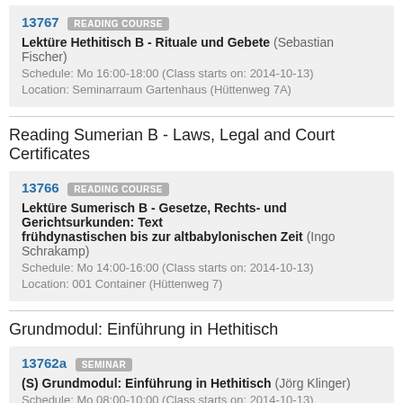13767 READING COURSE
Lektüre Hethitisch B - Rituale und Gebete (Sebastian Fischer)
Schedule: Mo 16:00-18:00 (Class starts on: 2014-10-13)
Location: Seminarraum Gartenhaus (Hüttenweg 7A)
Reading Sumerian B - Laws, Legal and Court Certificates
13766 READING COURSE
Lektüre Sumerisch B - Gesetze, Rechts- und Gerichtsurkunden: Texte von der frühdynastischen bis zur altbabylonischen Zeit (Ingo Schrakamp)
Schedule: Mo 14:00-16:00 (Class starts on: 2014-10-13)
Location: 001 Container (Hüttenweg 7)
Grundmodul: Einführung in Hethitisch
13762a SEMINAR
(S) Grundmodul: Einführung in Hethitisch (Jörg Klinger)
Schedule: Mo 08:00-10:00 (Class starts on: 2014-10-13)
Location: Seminarraum Gartenhaus (Hüttenweg 7A)
13762b LANGUAGE COURSE